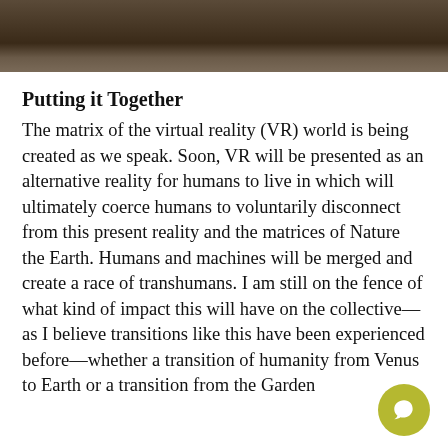[Figure (photo): Partial photo strip at the top of the page showing a dark, muted outdoor scene, possibly a person or animal near the ground.]
Putting it Together
The matrix of the virtual reality (VR) world is being created as we speak. Soon, VR will be presented as an alternative reality for humans to live in which will ultimately coerce humans to voluntarily disconnect from this present reality and the matrices of Nature the Earth. Humans and machines will be merged and create a race of transhumans. I am still on the fence of what kind of impact this will have on the collective—as I believe transitions like this have been experienced before—whether a transition of humanity from Venus to Earth or a transition from the Garden